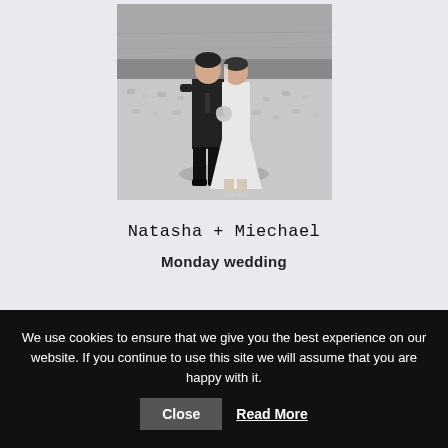[Figure (photo): Black and white wedding photo of a couple (groom in dark suit and tie, bride in white dress) walking together on a rocky/pebbly beach or shoreline with water visible in the background.]
Natasha + Miechael
Monday wedding
We use cookies to ensure that we give you the best experience on our website. If you continue to use this site we will assume that you are happy with it. Close Read More